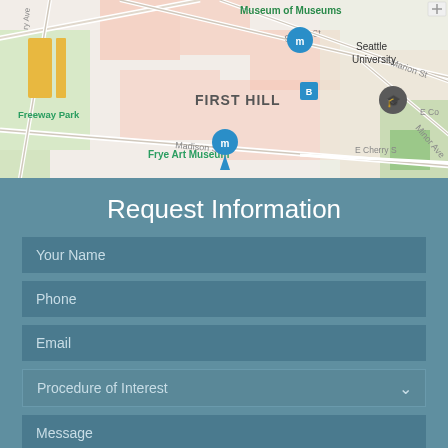[Figure (map): Street map of Seattle First Hill neighborhood showing Freeway Park, Frye Art Museum, Museum of Museums, and Seattle University with museum pin markers]
Request Information
Your Name
Phone
Email
Procedure of Interest
Message